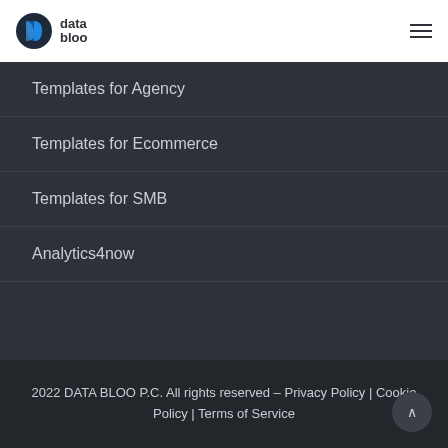[Figure (logo): Data Bloo logo with blue D icon and 'data bloo' text]
Templates for Agency
Templates for Ecommerce
Templates for SMB
Analytics4now
2022 DATA BLOO P.C. All rights reserved – Privacy Policy | Cookie Policy | Terms of Service